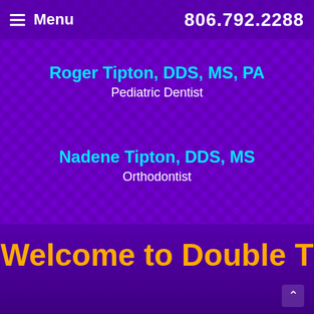Menu  806.792.2288
Roger Tipton, DDS, MS, PA
Pediatric Dentist
Nadene Tipton, DDS, MS
Orthodontist
Welcome to Double T